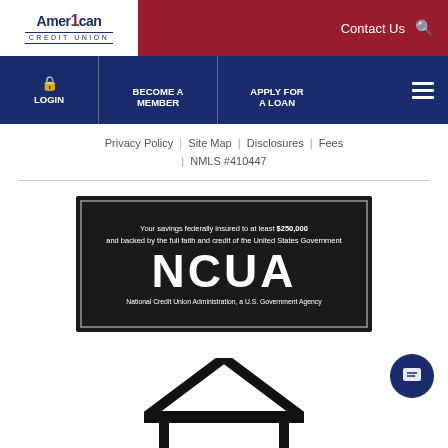[Figure (logo): American 1 Credit Union logo in white area on red bar]
Contact Us
LOGIN | BECOME A MEMBER | APPLY FOR A LOAN
Privacy Policy | Site Map | Disclosures | Fees
| NMLS #410447
[Figure (logo): NCUA badge: Your savings federally insured to at least $250,000 and backed by the full faith and credit of the United States Government. NCUA. National Credit Union Administration, a U.S. Government Agency]
[Figure (illustration): House roof/outline silhouette icon at bottom of page]